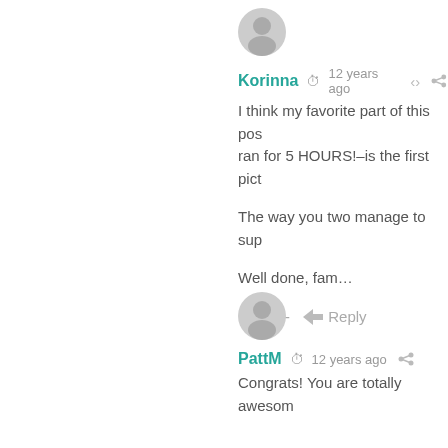[Figure (illustration): Gray circular user avatar icon for Korinna]
Korinna  12 years ago
I think my favorite part of this po... ran for 5 HOURS!–is the first pict...
The way you two manage to sup...
Well done, fam…
+ 0 —  Reply
[Figure (illustration): Gray circular user avatar icon for PattM]
PattM  12 years ago
Congrats! You are totally awesom...
+ 0 —  Reply